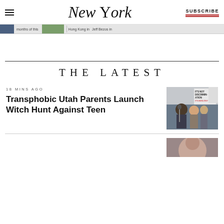New York | SUBSCRIBE
[Figure (screenshot): Navigation strip with thumbnail images and text links]
THE LATEST
18 MINS AGO
Transphobic Utah Parents Launch Witch Hunt Against Teen
[Figure (photo): Protesters holding signs including one reading IT'S NOT DISCRIMINATION IT'S BIOLOGY]
[Figure (photo): Partial view of second article thumbnail]